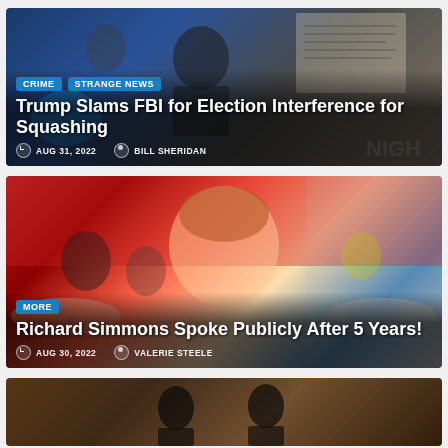[Figure (photo): News article card with background photo of Trump and political figures with document visible]
Trump Slams FBI for Election Interference for Squashing
AUG 31, 2022  BILL SHERIDAN
[Figure (photo): News article card with Richard Simmons photo at fitness event with red background]
Richard Simmons Spoke Publicly After 5 Years!
AUG 30, 2022  VALERIE STEELE
[Figure (photo): News article card partial view showing silhouettes against brick wall background]